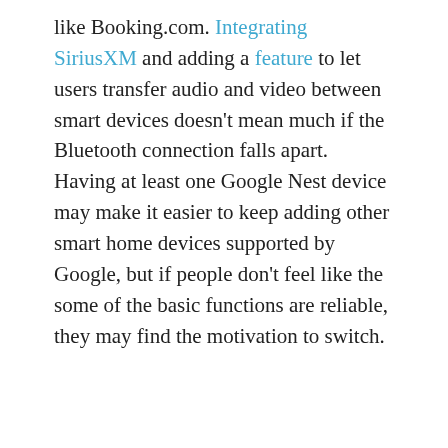like Booking.com. Integrating SiriusXM and adding a feature to let users transfer audio and video between smart devices doesn't mean much if the Bluetooth connection falls apart. Having at least one Google Nest device may make it easier to keep adding other smart home devices supported by Google, but if people don't feel like the some of the basic functions are reliable, they may find the motivation to switch.
[Figure (other): Two Twitter follow buttons: 'Follow @voicebotai' and 'Follow @erichschwartz']
Google Upgrades Nest Security, Urges Open Google Accounts
[Figure (photo): Nest thermostat device image]
Google is boosting the privacy and smart home products. The company